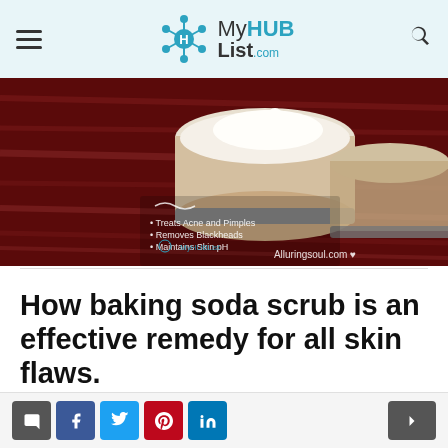MyHUBList.com
[Figure (photo): Baking soda face scrub in a glass jar on a dark wooden surface with a list of skin benefits overlaid on the left side. Text on image: Treats Acne and Pimples, Removes Blackheads, Maintains Skin pH, Treats and Prevents Razor Bumps, Exfoliates Dead Skin Cells, Lightens Dark Spots. Watermark: Alluringsoul.com]
How baking soda scrub is an effective remedy for all skin flaws.
Baking soda scrub is a mixture of coconut oil, tea tree oil, lemon oil, f...